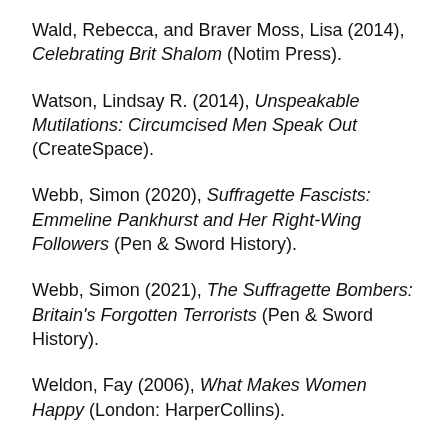Wald, Rebecca, and Braver Moss, Lisa (2014), Celebrating Brit Shalom (Notim Press).
Watson, Lindsay R. (2014), Unspeakable Mutilations: Circumcised Men Speak Out (CreateSpace).
Webb, Simon (2020), Suffragette Fascists: Emmeline Pankhurst and Her Right-Wing Followers (Pen & Sword History).
Webb, Simon (2021), The Suffragette Bombers: Britain's Forgotten Terrorists (Pen & Sword History).
Weldon, Fay (2006), What Makes Women Happy (London: HarperCollins).